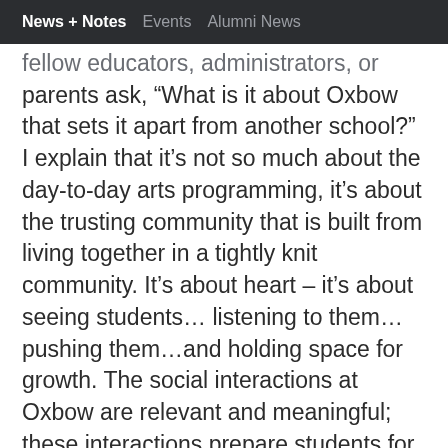News + Notes   Events   Alumni News
fellow educators, administrators, or parents ask, “What is it about Oxbow that sets it apart from another school?” I explain that it’s not so much about the day-to-day arts programming, it’s about the trusting community that is built from living together in a tightly knit community. It’s about heart – it’s about seeing students…listening to them…pushing them…and holding space for growth. The social interactions at Oxbow are relevant and meaningful; these interactions prepare students for future success and bolsters personal well-being at a time in life where it’s easy to get lost in irrelevant noise.